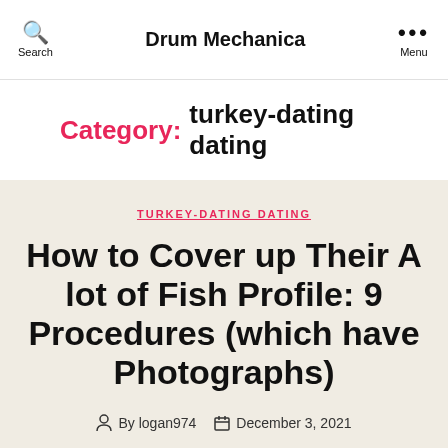Drum Mechanica
Category: turkey-dating dating
TURKEY-DATING DATING
How to Cover up Their A lot of Fish Profile: 9 Procedures (which have Photographs)
By logan974  December 3, 2021